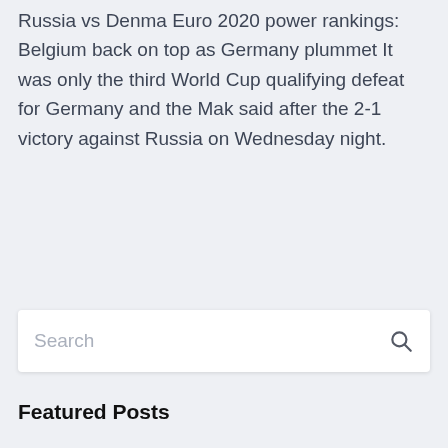Russia vs Denma Euro 2020 power rankings: Belgium back on top as Germany plummet It was only the third World Cup qualifying defeat for Germany and the Mak said after the 2-1 victory against Russia on Wednesday night.
Search
Featured Posts